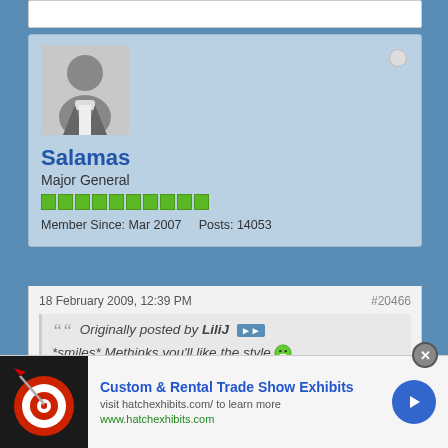[Figure (screenshot): Forum profile card showing user avatar (generic silhouette), username Salamas, rank Major General, green reputation bars, member since Mar 2007, Posts: 14053]
Salamas
Major General
Member Since: Mar 2007   Posts: 14053
18 February 2009, 12:39 PM
#20466
Originally posted by LiliJ
*smiles* Methinks you'll like the style 😁
Cake?
Custom & Rental Trade Show Exhibits
visit hatchexhibits.com/ to learn more
www.hatchexhibits.com